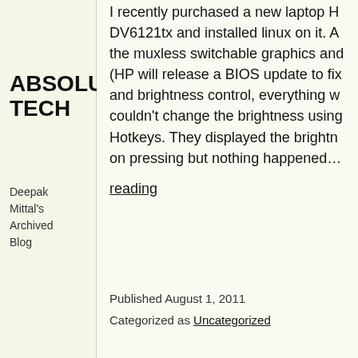ABSOLUTELY TECH
Deepak Mittal's Archived Blog
I recently purchased a new laptop H DV6121tx and installed linux on it. A the muxless switchable graphics and (HP will release a BIOS update to fix and brightness control, everything w couldn't change the brightness using Hotkeys. They displayed the brightn on pressing but nothing happened…
reading
Published August 1, 2011
Categorized as Uncategorized